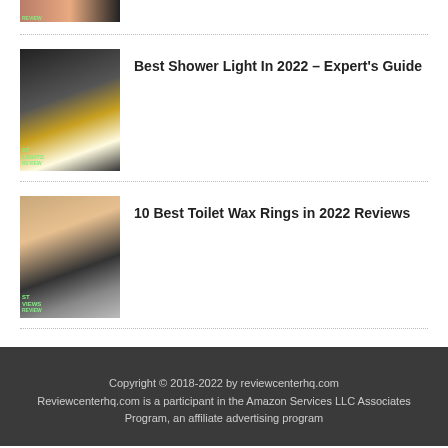[Figure (photo): Partial thumbnail of a product review image, cropped at top]
Best Shower Light In 2022 – Expert's Guide
[Figure (photo): Thumbnail of a circular shower light glowing warm yellow]
10 Best Toilet Wax Rings in 2022 Reviews
[Figure (photo): Thumbnail of a toilet wax ring installation]
Copyright © 2018-2022 by reviewcenterhq.com
Reviewcenterhq.com is a participant in the Amazon Services LLC Associates Program, an affiliate advertising program